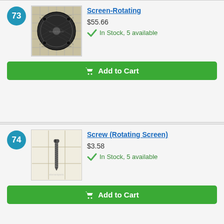73 Screen-Rotating $55.66 In Stock, 5 available Add to Cart
74 Screw (Rotating Screen) $3.58 In Stock, 5 available Add to Cart
75 Washer (Flywheel)